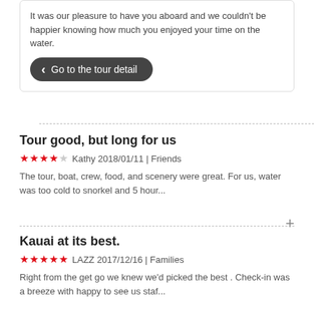It was our pleasure to have you aboard and we couldn't be happier knowing how much you enjoyed your time on the water. Go to the tour detail aloha
Tour good, but long for us
★★★★☆ Kathy 2018/01/11 | Friends
The tour, boat, crew, food, and scenery were great. For us, water was too cold to snorkel and 5 hour...
Kauai at its best.
★★★★★ LAZZ 2017/12/16 | Families
Right from the get go we knew we'd picked the best . Check-in was a breeze with happy to see us staf...
Great, exciting adventure
★★★★★ Helen&Bob 2016/08/18 | Families
We had a wonderful time on the morning snorkel /sail with Holo Holo. They are a great company--we've